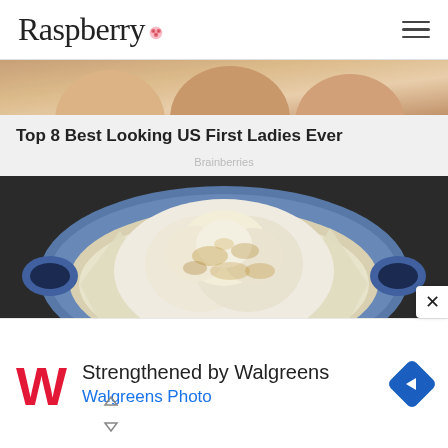Raspberry
[Figure (photo): Cropped top portion showing faces of women, partially visible]
Top 8 Best Looking US First Ladies Ever
Brainberries
[Figure (photo): A roasted cauliflower in a blue Dutch oven lined with parchment paper, showing golden brown spots on top]
11 Ukrainian Dishes Known Far
[Figure (infographic): Walgreens advertisement banner: Strengthened by Walgreens / Walgreens Photo, with Walgreens W logo and navigation arrow icon]